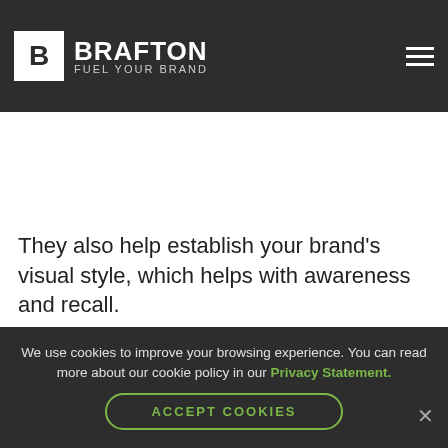Brafton – Fuel Your Brand (navigation bar with logo and hamburger menu)
Custom images can draw attention to a product or service you want to highlight or a brand message you want to reinforce.
They also help establish your brand's visual style, which helps with awareness and recall.
Leave it to a graphic design company to highlight exemplary email layout techniques. This email newsletter from
We use cookies to improve your browsing experience. You can read more about our cookie policy in our Privacy Statement. ACCEPT COOKIES